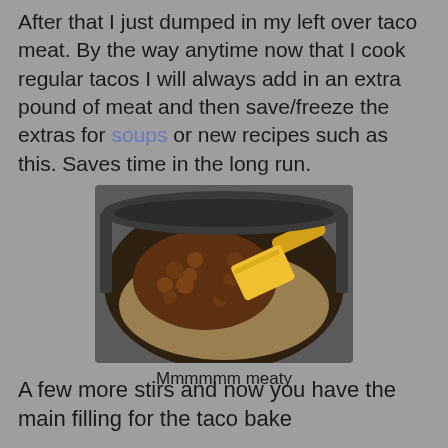After that I just dumped in my left over taco meat.  By the way anytime now that I cook regular tacos I will always add in an extra pound of meat and then save/freeze the extras for soups or new recipes such as this.  Saves time in the long run.
[Figure (photo): A dark pan/pot with crumbled taco meat being stirred with a yellow spatula, showing the meat mixed into a cheesy sauce.]
Mmmmmm meaty
A few more stirs and now you have the main filling for the taco bake